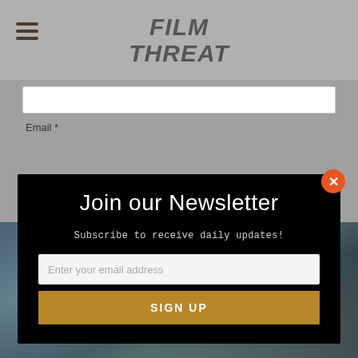Film Threat
[Figure (screenshot): Film Threat website with newsletter popup modal. Header shows hamburger menu and Film Threat logo. Modal has black background with 'Join our Newsletter' heading, subtitle 'Subscribe to receive daily updates!', email input field, and golden SIGN UP button. Orange close button in top right of modal.]
Join our Newsletter
Subscribe to receive daily updates!